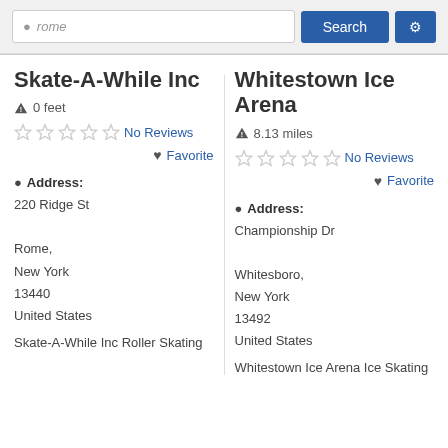[Figure (screenshot): Search bar with location input showing 'rome', a blue 'Search' button, and a blue settings/gear button]
Skate-A-While Inc
0 feet
No Reviews
Favorite
Address: 220 Ridge St
Rome, New York 13440 United States
Skate-A-While Inc Roller Skating
Whitestown Ice Arena
8.13 miles
No Reviews
Favorite
Address: Championship Dr
Whitesboro, New York 13492 United States
Whitestown Ice Arena Ice Skating